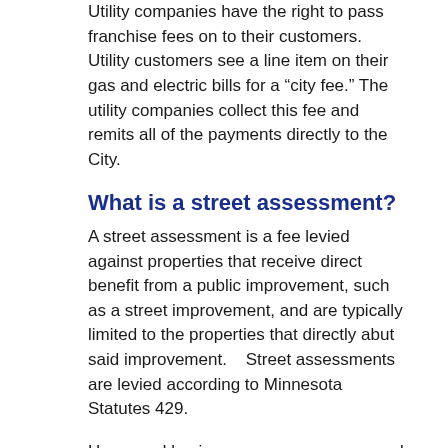Utility companies have the right to pass franchise fees on to their customers. Utility customers see a line item on their gas and electric bills for a “city fee.” The utility companies collect this fee and remits all of the payments directly to the City.
What is a street assessment?
A street assessment is a fee levied against properties that receive direct benefit from a public improvement, such as a street improvement, and are typically limited to the properties that directly abut said improvement.    Street assessments are levied according to Minnesota Statutes 429.
Home and business owners are assessed for street improvement projects and owners typically pay between 20% to 50% of the project costs based on the benefit of the improvement to property. The type of street improvement can vary, from a Mill and Overlay, to Reclamation, to Reconstruction. The expected life of a street is 60 years. Typically, you will have one type of